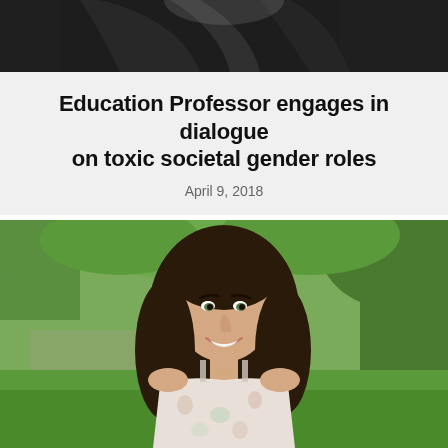[Figure (photo): Partial photo of a person in a dark jacket, cropped at the top of the page]
Education Professor engages in dialogue on toxic societal gender roles
April 9, 2018
[Figure (photo): A young woman with long dark wavy hair, smiling, wearing a floral top, standing outdoors in a park with large trees and green grass in the background]